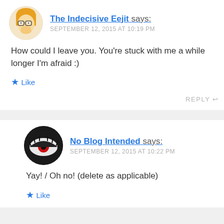The Indecisive Eejit says:
SEPTEMBER 12, 2015 AT 10:19 PM
How could I leave you. You're stuck with me a while longer I'm afraid :)
Like
REPLY
No Blog Intended says:
SEPTEMBER 12, 2015 AT 10:22 PM
Yay! / Oh no! (delete as applicable)
Like